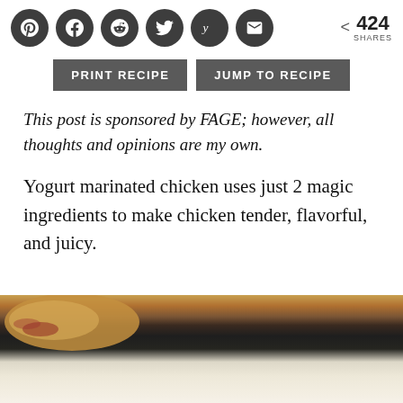[Figure (other): Social media share buttons: Pinterest, Facebook, Reddit, Twitter, Yummly, Email icons (dark circular buttons), followed by a share symbol and '424 SHARES' count]
PRINT RECIPE    JUMP TO RECIPE
This post is sponsored by FAGE; however, all thoughts and opinions are my own.
Yogurt marinated chicken uses just 2 magic ingredients to make chicken tender, flavorful, and juicy.
[Figure (photo): Partial photo of yogurt marinated chicken dish, showing food in the upper portion and a light background in the lower portion]